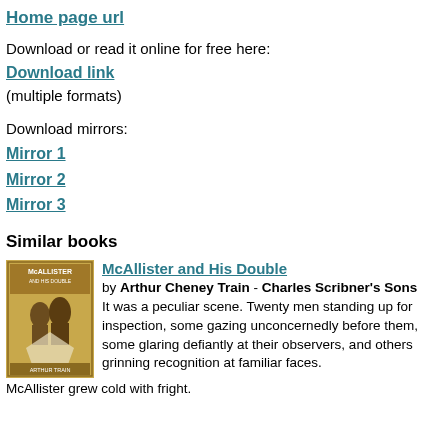Home page url
Download or read it online for free here:
Download link
(multiple formats)
Download mirrors:
Mirror 1
Mirror 2
Mirror 3
Similar books
[Figure (photo): Book cover of McAllister and His Double by Arthur Train, tan/gold colored cover with two figures]
McAllister and His Double
by Arthur Cheney Train - Charles Scribner's Sons
It was a peculiar scene. Twenty men standing up for inspection, some gazing unconcernedly before them, some glaring defiantly at their observers, and others grinning recognition at familiar faces. McAllister grew cold with fright.